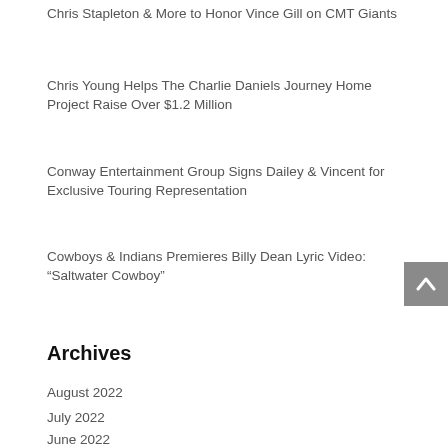Chris Stapleton & More to Honor Vince Gill on CMT Giants
Chris Young Helps The Charlie Daniels Journey Home Project Raise Over $1.2 Million
Conway Entertainment Group Signs Dailey & Vincent for Exclusive Touring Representation
Cowboys & Indians Premieres Billy Dean Lyric Video: “Saltwater Cowboy”
Archives
August 2022
July 2022
June 2022
May 2022
April 2022
March 2022